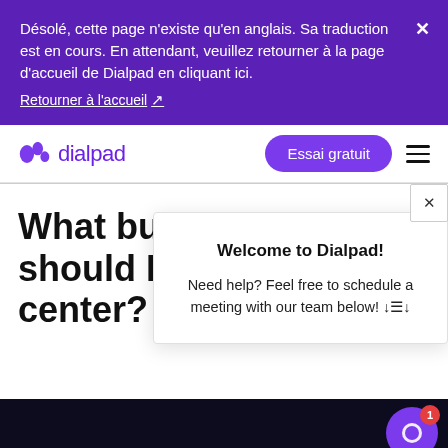Désolé, cette page n'existe qu'en anglais. Sa traduction est en cours. En attendant, veuillez retourner à la page d'accueil de Dialpad en cliquant ici. Retourner à l'accueil ↗
[Figure (logo): Dialpad logo with purple icon and wordmark]
Essai gratuit
What busin should I us center?
Welcome to Dialpad!
Need help? Feel free to schedule a meeting with our team below! ↓☰↓